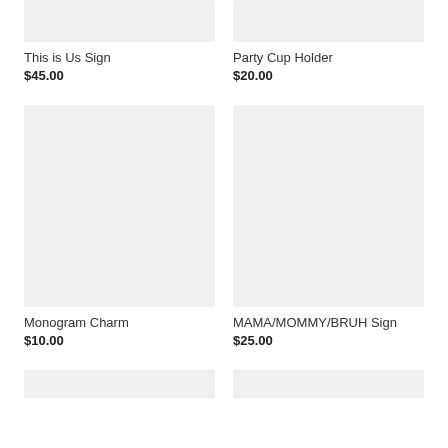[Figure (photo): Product image placeholder for This is Us Sign]
This is Us Sign
$45.00
[Figure (photo): Product image placeholder for Party Cup Holder]
Party Cup Holder
$20.00
[Figure (photo): Product image placeholder for Monogram Charm]
Monogram Charm
$10.00
[Figure (photo): Product image placeholder for MAMA/MOMMY/BRUH Sign]
MAMA/MOMMY/BRUH Sign
$25.00